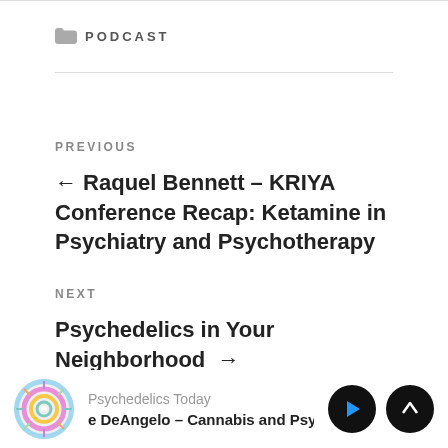PODCAST
PREVIOUS
← Raquel Bennett – KRIYA Conference Recap: Ketamine in Psychiatry and Psychotherapy
NEXT
Psychedelics in Your Neighborhood →
Psychedelics Today | e DeAngelo – Cannabis and Psyche